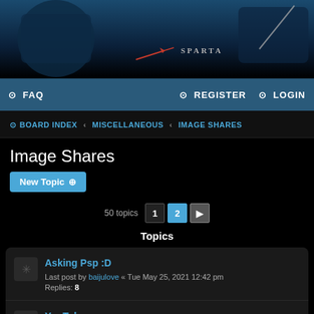[Figure (illustration): Forum website header banner with fantasy game characters silhouette against a blue/dark background, with a logo in the center showing an arrow icon and stylized text 'SPARTA' or similar]
FAQ  REGISTER  LOGIN
BOARD INDEX « MISCELLANEOUS « IMAGE SHARES
Image Shares
New Topic
50 topics  1  2  [next]
Topics
Asking Psp :D
Last post by baijulove « Tue May 25, 2021 12:42 pm
Replies: 8
YouTube
Last post by Tomriddle « Mon Nov 06, 2017 1:41 pm
Replies: 9
Mystrius Aka Youknowme